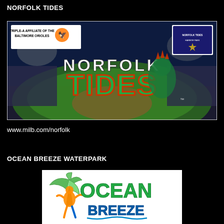NORFOLK TIDES
[Figure (photo): Norfolk Tides baseball team banner image showing a stadium at night with the Norfolk Tides logo featuring a green seahorse, and text 'Triple-A Affiliate of the Baltimore Orioles']
www.milb.com/norfolk
OCEAN BREEZE WATERPARK
[Figure (logo): Ocean Breeze Waterpark logo showing a green palm tree character with blue and orange waves text reading 'OCEAN BREEZE']